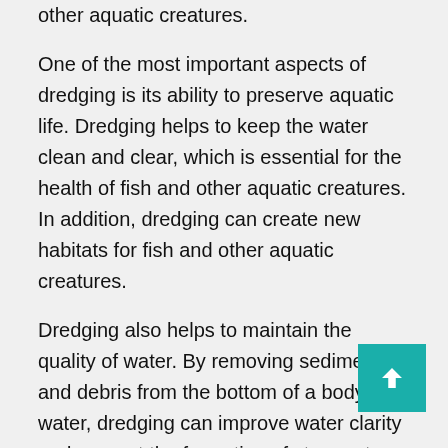other aquatic creatures.
One of the most important aspects of dredging is its ability to preserve aquatic life. Dredging helps to keep the water clean and clear, which is essential for the health of fish and other aquatic creatures. In addition, dredging can create new habitats for fish and other aquatic creatures.
Dredging also helps to maintain the quality of water. By removing sediment and debris from the bottom of a body of water, dredging can improve water clarity and prevent the formation of stagnant pools. In addition, dredging can help to aerate the water and improve its quality.